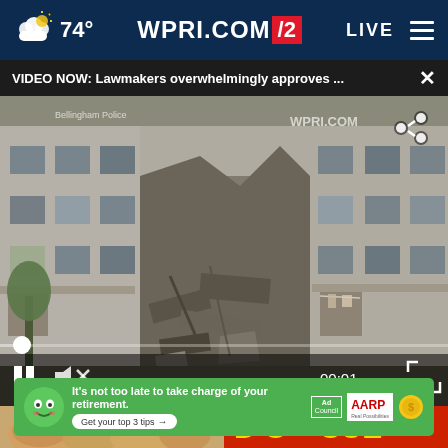74° WPRI.COM/2 LIVE
VIDEO NOW: Lawmakers overwhelmingly approves ... ×
[Figure (screenshot): Video player showing a destroyed apartment building, war damage scene. Controls visible: pause button, mute button, timestamp 00:01, fullscreen button, progress bar with dot. WPRI.COM watermark visible. Text overlay: 'Bellingham Police']
[Figure (screenshot): Bottom portion showing two images side by side: baked goods/bread on the left, and a red banner/sign on the right with yellow text, partially visible]
It's not too late to take charge of your retirement. Get your top 3 tips → Ad Council AARP Real Possibilities